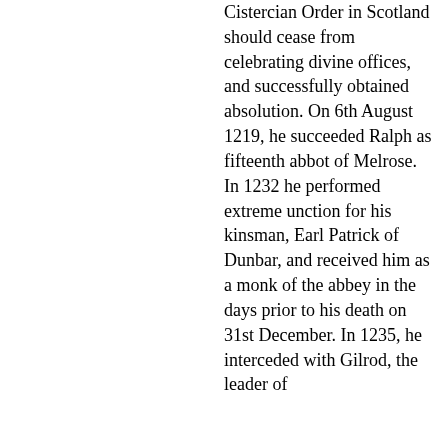Cistercian Order in Scotland should cease from celebrating divine offices, and successfully obtained absolution. On 6th August 1219, he succeeded Ralph as fifteenth abbot of Melrose. In 1232 he performed extreme unction for his kinsman, Earl Patrick of Dunbar, and received him as a monk of the abbey in the days prior to his death on 31st December. In 1235, he interceded with Gilrod, the leader of